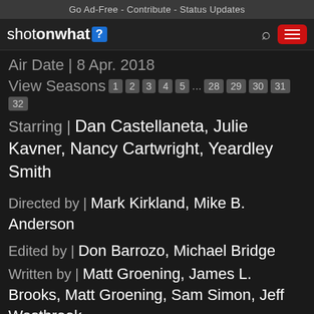Go Ad-Free - Contribute - Status Updates
[Figure (logo): shotonwhat? logo with search icon and hamburger menu button]
Air Date | 8 Apr. 2018
View Seasons 1 2 3 4 5 ... 28 29 30 31
32
Starring | Dan Castellaneta, Julie Kavner, Nancy Cartwright, Yeardley Smith
Directed by | Mark Kirkland, Mike B. Anderson
Edited by | Don Barrozo, Michael Bridge
Written by | Matt Groening, James L. Brooks, Matt Groening, Sam Simon, Jeff Westbrook
CAMERAS